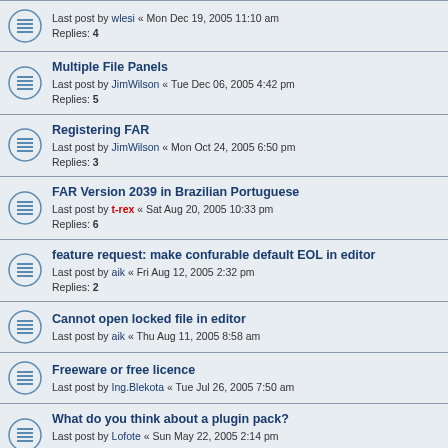Last post by wlesi « Mon Dec 19, 2005 11:10 am
Replies: 4
Multiple File Panels
Last post by JimWilson « Tue Dec 06, 2005 4:42 pm
Replies: 5
Registering FAR
Last post by JimWilson « Mon Oct 24, 2005 6:50 pm
Replies: 3
FAR Version 2039 in Brazilian Portuguese
Last post by t-rex « Sat Aug 20, 2005 10:33 pm
Replies: 6
feature request: make confurable default EOL in editor
Last post by aik « Fri Aug 12, 2005 2:32 pm
Replies: 2
Cannot open locked file in editor
Last post by aik « Thu Aug 11, 2005 8:58 am
Freeware or free licence
Last post by Ing.Blekota « Tue Jul 26, 2005 7:50 am
What do you think about a plugin pack?
Last post by Lofote « Sun May 22, 2005 2:14 pm
Replies: 4
47 topics • Page 1 of 1
Jump to